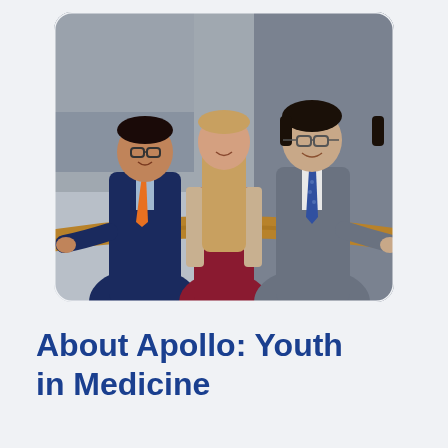[Figure (photo): Three young people dressed in formal attire (suits and a dress) smiling and posing together on a staircase with a curved wooden railing. Two males and one female. The male on the left wears a navy blazer and orange tie, the female in the center wears a burgundy dress with a tan cardigan, and the male on the right wears a grey suit with a blue tie.]
About Apollo: Youth in Medicine